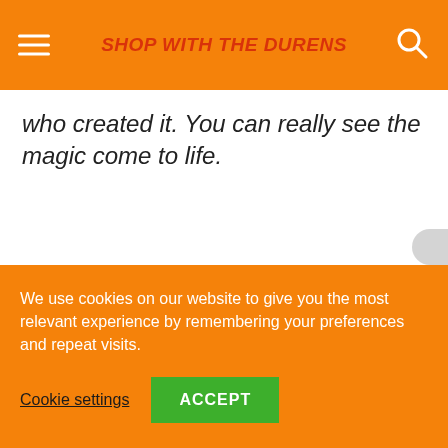SHOP WITH THE DURENS
who created it. You can really see the magic come to life.
We use cookies on our website to give you the most relevant experience by remembering your preferences and repeat visits.
Cookie settings
ACCEPT